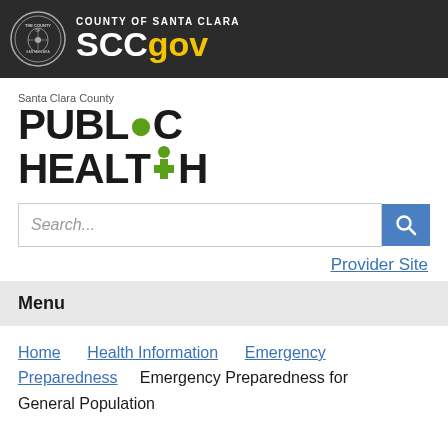[Figure (logo): County of Santa Clara SCCgov header logo with seal on dark background]
[Figure (logo): Santa Clara County Public Health department logo]
Search...
Provider Site
Menu
Home   Health Information   Emergency Preparedness   Emergency Preparedness for General Population